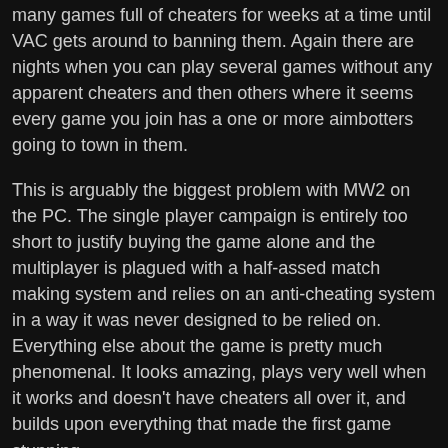many games full of cheaters for weeks at a time until VAC gets around to banning them. Again there are nights when you can play several games without any apparent cheaters and then others where it seems every game you join has a one or more aimbotters going to town in them.
This is arguably the biggest problem with MW2 on the PC. The single player campaign is entirely too short to justify buying the game alone and the multiplayer is plagued with a half-assed match making system and relies on an anti-cheating system in a way it was never designed to be relied on. Everything else about the game is pretty much phenomenal. It looks amazing, plays very well when it works and doesn't have cheaters all over it, and builds upon everything that made the first game stunning.
This is why my recommendation is as follows: If you can handle playing FPS games on a console then rush out – if you haven't already – and buy this for the Xbox 360 or PS3, but if you're like me and insist on a PC for your FPS fun then you're better off avoiding this game for the time